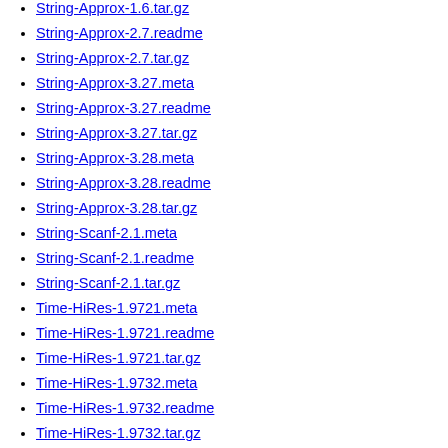String-Approx-1.6.tar.gz
String-Approx-2.7.readme
String-Approx-2.7.tar.gz
String-Approx-3.27.meta
String-Approx-3.27.readme
String-Approx-3.27.tar.gz
String-Approx-3.28.meta
String-Approx-3.28.readme
String-Approx-3.28.tar.gz
String-Scanf-2.1.meta
String-Scanf-2.1.readme
String-Scanf-2.1.tar.gz
Time-HiRes-1.9721.meta
Time-HiRes-1.9721.readme
Time-HiRes-1.9721.tar.gz
Time-HiRes-1.9732.meta
Time-HiRes-1.9732.readme
Time-HiRes-1.9732.tar.gz
Time-HiRes-1.9733.meta
Time-HiRes-1.9733.readme
Time-HiRes-1.9733.tar.gz
Time-HiRes-1.9739.meta
Time-HiRes-1.9739.readme
Time-HiRes-1.9739.tar.gz
Time-HiRes-1.9740.meta